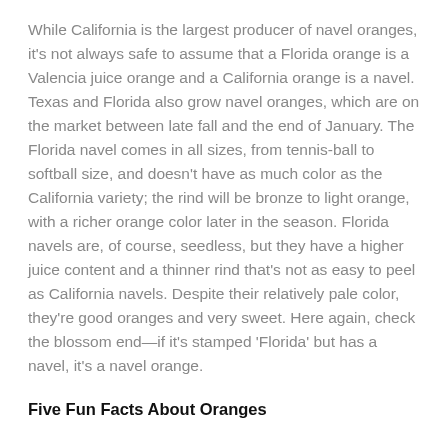While California is the largest producer of navel oranges, it's not always safe to assume that a Florida orange is a Valencia juice orange and a California orange is a navel. Texas and Florida also grow navel oranges, which are on the market between late fall and the end of January. The Florida navel comes in all sizes, from tennis-ball to softball size, and doesn't have as much color as the California variety; the rind will be bronze to light orange, with a richer orange color later in the season. Florida navels are, of course, seedless, but they have a higher juice content and a thinner rind that's not as easy to peel as California navels. Despite their relatively pale color, they're good oranges and very sweet. Here again, check the blossom end—if it's stamped 'Florida' but has a navel, it's a navel orange.
Five Fun Facts About Oranges